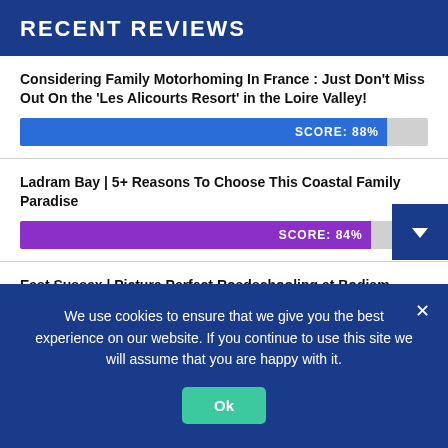RECENT REVIEWS
Considering Family Motorhoming In France : Just Don't Miss Out On the 'Les Alicourts Resort' in the Loire Valley!
[Figure (infographic): Score bar showing SCORE: 88% in blue]
Ladram Bay | 5+ Reasons To Choose This Coastal Family Paradise
[Figure (infographic): Score bar showing SCORE: 84% in purple]
East Sussex | Picture Perfect Roadschooling at Bodiam Castle
[Figure (infographic): Score bar showing SCORE: 86% in blue]
We use cookies to ensure that we give you the best experience on our website. If you continue to use this site we will assume that you are happy with it.